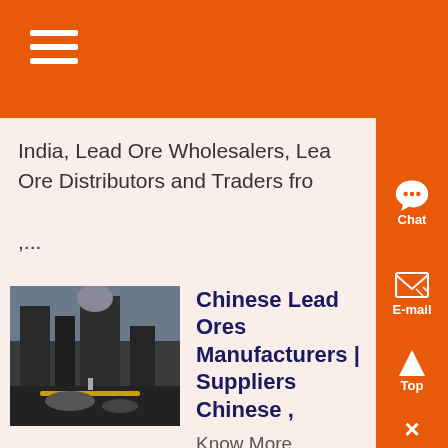India, Lead Ore Wholesalers, Lead Ore Distributors and Traders from
,...
Chinese Lead Ores Manufacturers | Suppliers Chinese ,
Know More
Chinese manufacturers and suppliers of lead ores from around the world Panjiva uses over 30 international data sources to help you find qualified vendors of Chinese ....